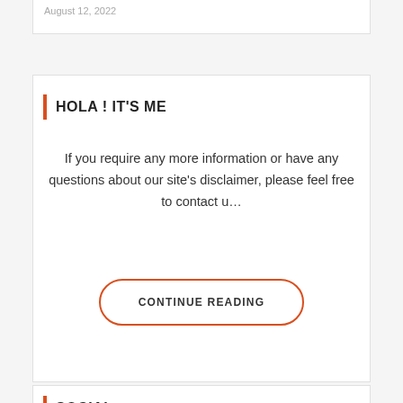August 12, 2022
HOLA ! IT'S ME
If you require any more information or have any questions about our site's disclaimer, please feel free to contact u…
CONTINUE READING
SOCIAL